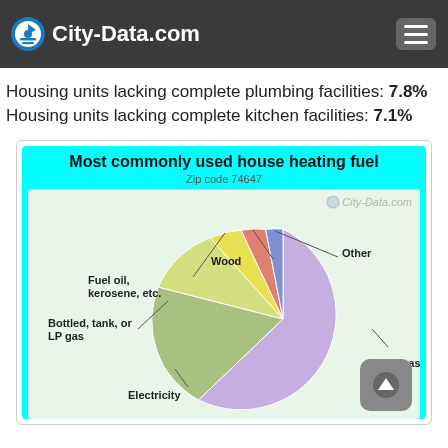City-Data.com
Housing units lacking complete plumbing facilities: 7.8%
Housing units lacking complete kitchen facilities: 7.1%
[Figure (pie-chart): Most commonly used house heating fuel]